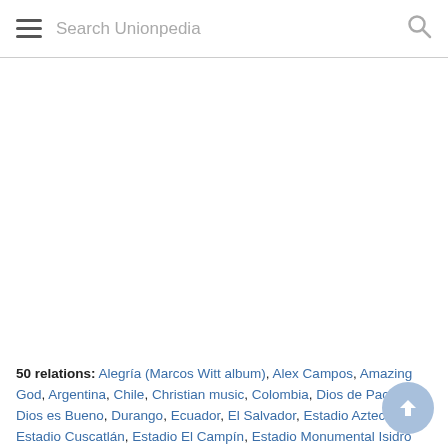Search Unionpedia
50 relations: Alegría (Marcos Witt album), Alex Campos, Amazing God, Argentina, Chile, Christian music, Colombia, Dios de Pactos, Dios es Bueno, Durango, Ecuador, El Salvador, Estadio Azteca, Estadio Cuscatlán, Estadio El Campín, Estadio Monumental Isidro Romero Carbo, Figali Convention Center, Gospel of John, Hillsong Global Project, Hosanna! Music, José Amalfitani Stadium, Lakewood Church, Marcos Witt, Master's degree, Megachurch, Mexico City, Miguelito (singer), Missionary, Oklahoma, Oral